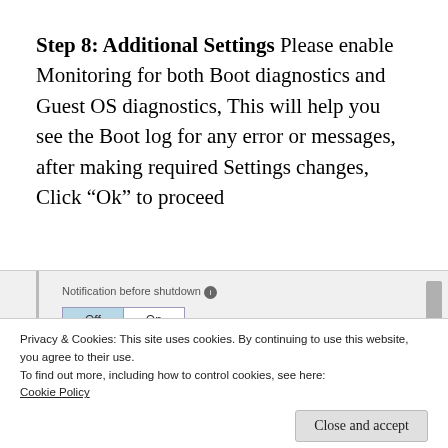Step 8: Additional Settings Please enable Monitoring for both Boot diagnostics and Guest OS diagnostics, This will help you see the Boot log for any error or messages, after making required Settings changes, Click “Ok” to proceed
[Figure (screenshot): Screenshot showing a UI toggle for 'Notification before shutdown' with Off and On buttons, Off button selected/highlighted in light blue. A vertical scrollbar is visible on the right.]
Privacy & Cookies: This site uses cookies. By continuing to use this website, you agree to their use.
To find out more, including how to control cookies, see here:
Cookie Policy
[Figure (screenshot): Bottom strip of a screenshot showing Disabled and Enabled toggle buttons, with red vertical lines on left and right, and a scrollbar thumb on the right.]